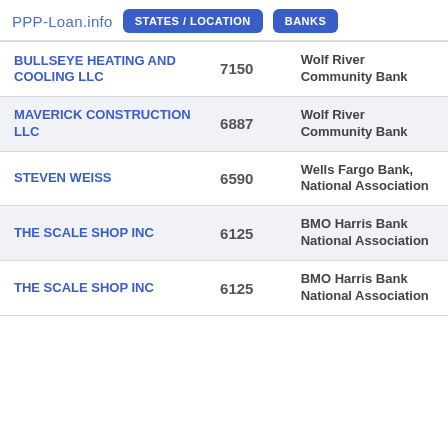PPP-Loan.info  STATES / LOCATION  BANKS
| Business Name | Amount | Bank |
| --- | --- | --- |
| BULLSEYE HEATING AND COOLING LLC | 7150 | Wolf River Community Bank |
| MAVERICK CONSTRUCTION LLC | 6887 | Wolf River Community Bank |
| STEVEN WEISS | 6590 | Wells Fargo Bank, National Association |
| THE SCALE SHOP INC | 6125 | BMO Harris Bank National Association |
| THE SCALE SHOP INC | 6125 | BMO Harris Bank National Association |